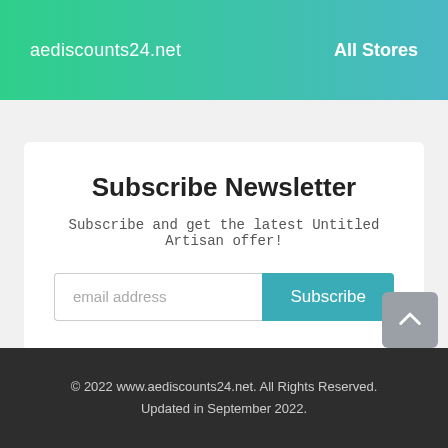aediscounts24.net    All Stores
Subscribe Newsletter
Subscribe and get the latest Untitled Artisan offer!
email address  Subscribe
© 2022 www.aediscounts24.net. All Rights Reserved. Updated in September 2022.